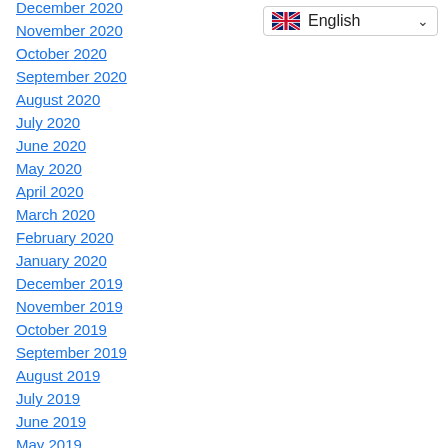November 2020
October 2020
September 2020
August 2020
July 2020
June 2020
May 2020
April 2020
March 2020
February 2020
January 2020
December 2019
November 2019
October 2019
September 2019
August 2019
July 2019
June 2019
May 2019
April 2019
[Figure (other): Language selector dropdown showing UK flag and 'English' text with dropdown arrow]